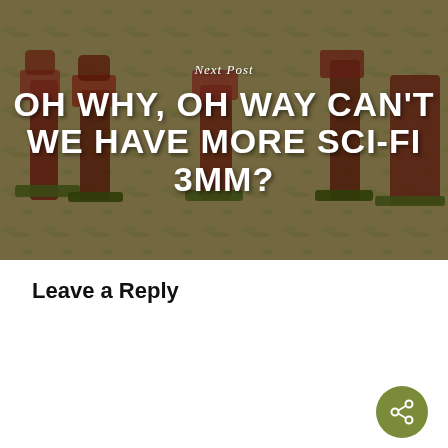[Figure (photo): Background photo of red painted miniature soldiers on a textured base, with 'Next Post' label and bold white title text overlaid]
OH WHY, OH WAY CAN'T WE HAVE MORE SCI-FI 3MM?
Leave a Reply